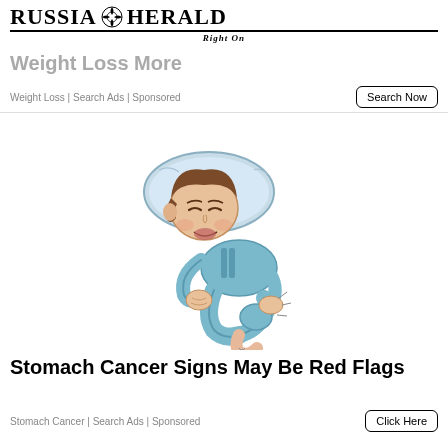RUSSIA HERALD RIGHT ON
Weight Loss More
Weight Loss | Search Ads | Sponsored
[Figure (illustration): Cartoon illustration of a boy in blue pajamas lying on a pillow, holding his knee/leg in pain with a pained facial expression]
Stomach Cancer Signs May Be Red Flags
Stomach Cancer | Search Ads | Sponsored